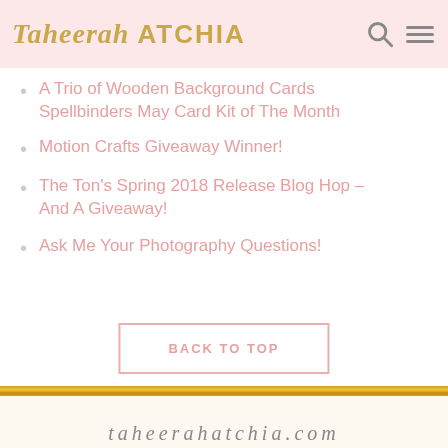Taheerah ATCHIA
A Trio of Wooden Background Cards Spellbinders May Card Kit of The Month
Motion Crafts Giveaway Winner!
The Ton's Spring 2018 Release Blog Hop – And A Giveaway!
Ask Me Your Photography Questions!
BACK TO TOP
[Figure (infographic): Gold glitter horizontal divider bar]
[Figure (infographic): Row of 8 gold glitter social media icons: RSS, heart/bloglovin, YouTube, Twitter, Instagram, Pinterest, Facebook, location pin]
taheerahatchia.com